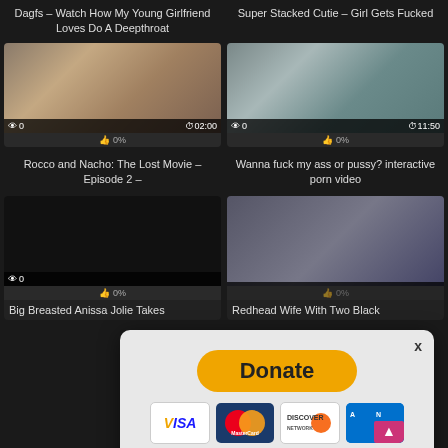Dagfs – Watch How My Young Girlfriend Loves Do A Deepthroat
Super Stacked Cutie – Girl Gets Fucked
[Figure (photo): Thumbnail image of adult content with view count 0 and duration 02:00]
[Figure (photo): Thumbnail image of adult content with view count 0 and duration 11:50]
👍 0%
👍 0%
Rocco and Nacho: The Lost Movie – Episode 2 –
Wanna fuck my ass or pussy? interactive porn video
[Figure (photo): Thumbnail image of adult content with view count 0]
👍 0%
Big Breasted Anissa Jolie Takes
Redhead Wife With Two Black
[Figure (screenshot): Donate modal popup with Donate button and payment icons: VISA, MasterCard, Discover, American Express]